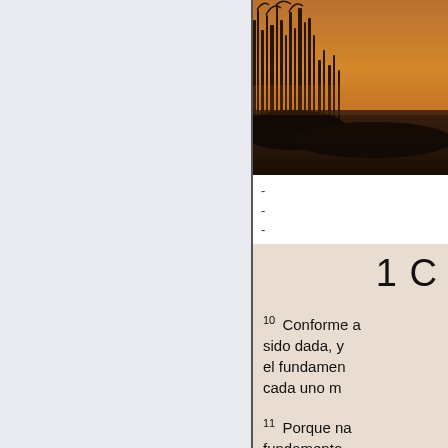[Figure (photo): Dark moody photo of reeds/grass silhouettes against a warm golden sky with water, taken at dusk or dawn]
-
-
-
[Figure (photo): Photo of a Bible open to 1 Corinthians, showing verses 10 and 11 in Spanish text on aged cream paper]
1 C
10 Conforme a la gracia de Dios que me ha sido dada, yo como perito arquitecto puse el fundamento, y otro edifica encima; pero cada uno mire cómo sobreedifica.
11 Porque nadie puede poner otro fundamento